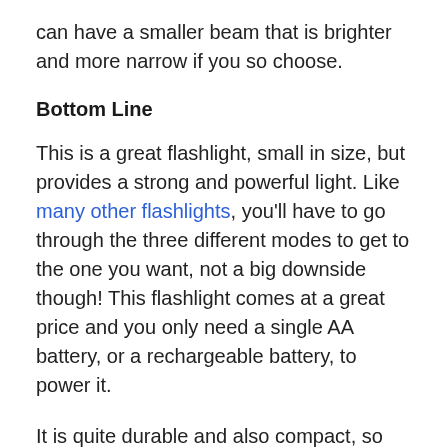can have a smaller beam that is brighter and more narrow if you so choose.
Bottom Line
This is a great flashlight, small in size, but provides a strong and powerful light. Like many other flashlights, you'll have to go through the three different modes to get to the one you want, not a big downside though! This flashlight comes at a great price and you only need a single AA battery, or a rechargeable battery, to power it.
It is quite durable and also compact, so you won't have to worry about it becoming damaged if you shove it at the bottom of